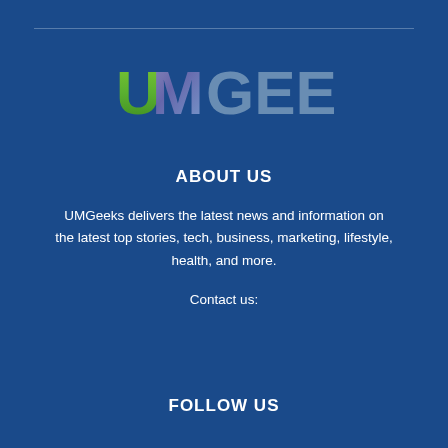[Figure (logo): UMGEEKS logo with green/purple gradient U and M letters followed by grey GEEKS text on dark blue background]
ABOUT US
UMGeeks delivers the latest news and information on the latest top stories, tech, business, marketing, lifestyle, health, and more.
Contact us:
FOLLOW US